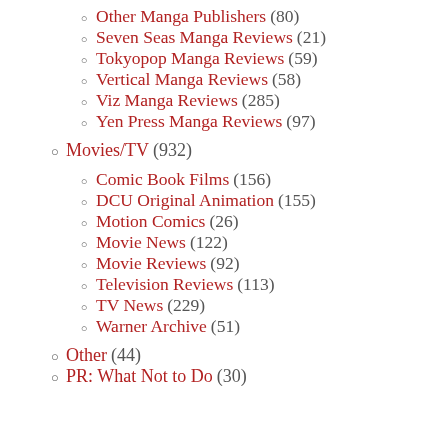Other Manga Publishers (80)
Seven Seas Manga Reviews (21)
Tokyopop Manga Reviews (59)
Vertical Manga Reviews (58)
Viz Manga Reviews (285)
Yen Press Manga Reviews (97)
Movies/TV (932)
Comic Book Films (156)
DCU Original Animation (155)
Motion Comics (26)
Movie News (122)
Movie Reviews (92)
Television Reviews (113)
TV News (229)
Warner Archive (51)
Other (44)
PR: What Not to Do (30)